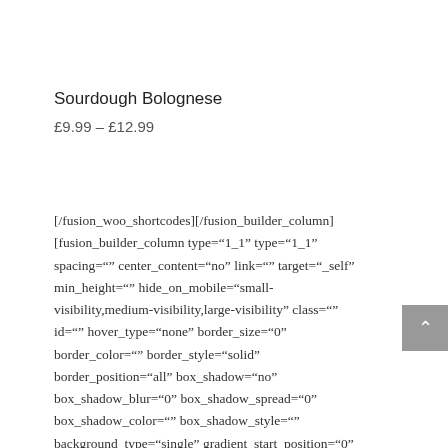Sourdough Bolognese
£9.99 – £12.99
[/fusion_woo_shortcodes][/fusion_builder_column] [fusion_builder_column type="1_1" type="1_1" spacing="" center_content="no" link="" target="_self" min_height="" hide_on_mobile="small-visibility,medium-visibility,large-visibility" class="" id="" hover_type="none" border_size="0" border_color="" border_style="solid" border_position="all" box_shadow="no" box_shadow_blur="0" box_shadow_spread="0" box_shadow_color="" box_shadow_style="" background_type="single" gradient_start_position="0"